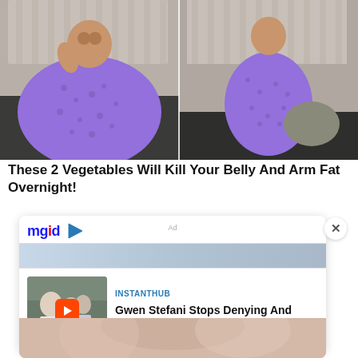[Figure (photo): Before and after comparison photo: two side-by-side images of a woman in a purple dotted outfit sitting on a couch]
These 2 Vegetables Will Kill Your Belly And Arm Fat Overnight!
[Figure (screenshot): MGID advertisement widget showing a sponsored content card titled 'Gwen Stefani Stops Denying And Confirms The Rumors' from INSTANTHUB, with a thumbnail video image and MGID logo]
[Figure (photo): Bottom partial image of a person, partially cropped]